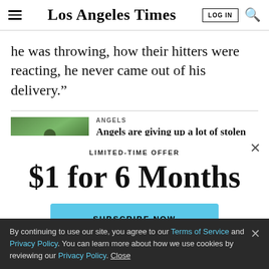Los Angeles Times
he was throwing, how their hitters were reacting, he never came out of his delivery.”
ANGELS
Angels are giving up a lot of stolen bases
LIMITED-TIME OFFER
$1 for 6 Months
SUBSCRIBE NOW
By continuing to use our site, you agree to our Terms of Service and Privacy Policy. You can learn more about how we use cookies by reviewing our Privacy Policy. Close